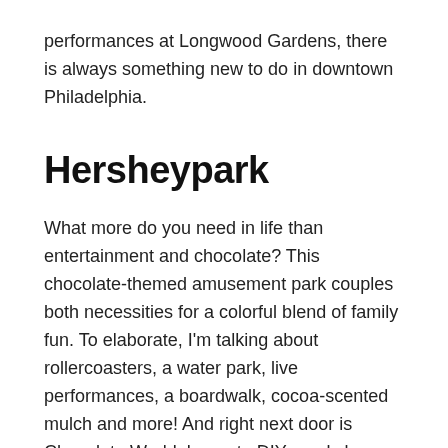performances at Longwood Gardens, there is always something new to do in downtown Philadelphia.
Hersheypark
What more do you need in life than entertainment and chocolate? This chocolate-themed amusement park couples both necessities for a colorful blend of family fun. To elaborate, I'm talking about rollercoasters, a water park, live performances, a boardwalk, cocoa-scented mulch and more! And right next door is Chocolate World: home to DIY candy bars, chocolate tours and an interactive chocolate mystery. Need we say more? Hersheypark is only about a two-hour drive